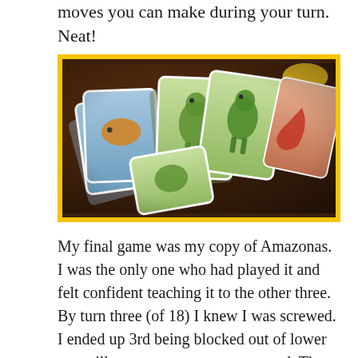moves you can make during your turn. Neat!
[Figure (photo): Photo of board game cards (Amazonas or similar animal card game) laid out on a wooden table. Cards show illustrated animals including fish and green dinosaurs/lizards, with blue and green card backs. Cards are fanned out and overlapping. A yellow bowl is partially visible in the top right.]
My final game was my copy of Amazonas. I was the only one who had played it and felt confident teaching it to the other three. By turn three (of 18) I knew I was screwed. I ended up 3rd being blocked out of lower cost villages on my secret route card. There was no way to recover and I should have just bagged my route